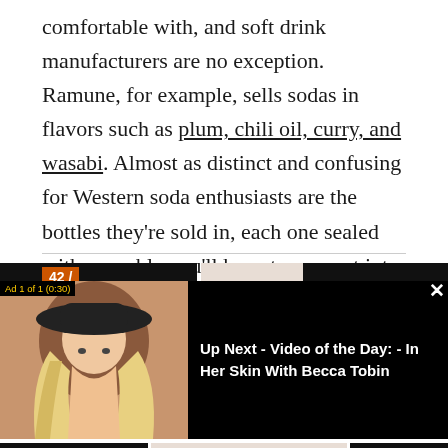comfortable with, and soft drink manufacturers are no exception. Ramune, for example, sells sodas in flavors such as plum, chili oil, curry, and wasabi. Almost as distinct and confusing for Western soda enthusiasts are the bottles they're sold in, each one sealed with a marble you'll have to pop out into the beverage before drinking.
[Figure (screenshot): Video player overlay showing an ad (Ad 1 of 1, 0:30) with a thumbnail of a woman with long blonde hair and a wide-brimmed hat, and text 'Up Next - Video of the Day: - In Her Skin With Becca Tobin' on a black background. Below are three image thumbnails and an Amazon label.]